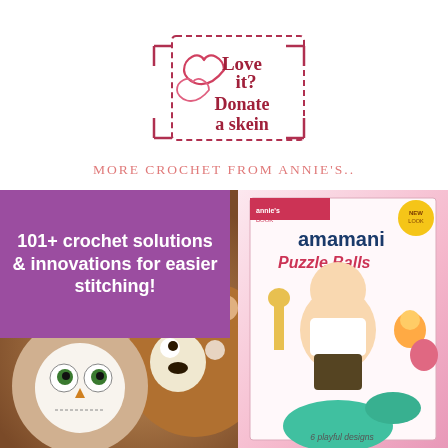[Figure (logo): Love it? Donate a skein logo with two hand-drawn hearts and a dashed border rectangle, text in dark red/maroon handwritten style]
MORE CROCHET FROM ANNIE'S..
[Figure (photo): Left: close-up photo of crocheted stuffed animal faces (bear and owl/cat) with purple overlay box reading '101+ crochet solutions & innovations for easier stitching!'. Right: book cover for 'amamani Puzzle Balls' showing a baby sitting with colorful crocheted puzzle ball animals (dinosaur, elephant, giraffe), subtitle '6 playful designs']